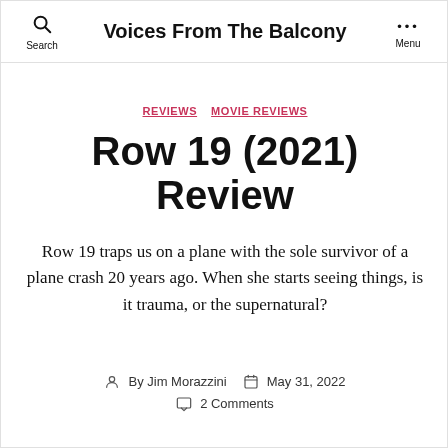Voices From The Balcony
REVIEWS   MOVIE REVIEWS
Row 19 (2021) Review
Row 19 traps us on a plane with the sole survivor of a plane crash 20 years ago. When she starts seeing things, is it trauma, or the supernatural?
By Jim Morazzini   May 31, 2022   2 Comments